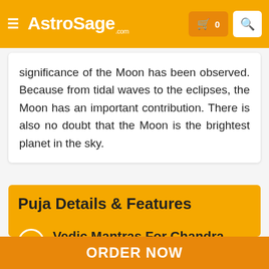AstroSage.com
significance of the Moon has been observed. Because from tidal waves to the eclipses, the Moon has an important contribution. There is also no doubt that the Moon is the brightest planet in the sky.
Puja Details & Features
Vedic Mantras For Chandra Graha Shanti Puja
ORDER NOW